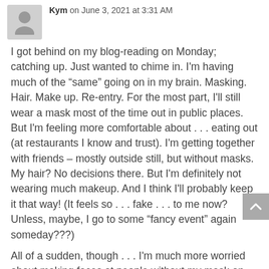Kym on June 3, 2021 at 3:31 AM
I got behind on my blog-reading on Monday; catching up. Just wanted to chime in. I'm having much of the “same” going on in my brain. Masking. Hair. Make up. Re-entry. For the most part, I'll still wear a mask most of the time out in public places. But I'm feeling more comfortable about . . . eating out (at restaurants I know and trust). I'm getting together with friends – mostly outside still, but without masks. My hair? No decisions there. But I'm definitely not wearing much makeup. And I think I'll probably keep it that way! (It feels so . . . fake . . . to me now? Unless, maybe, I go to some “fancy event” again someday???)
All of a sudden, though . . . I'm much more worried about making faces at people without my mask on (which is something I have gotten in the habit of doing). Could be trouble.